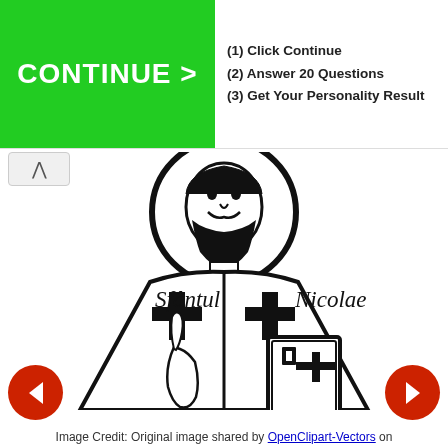[Figure (illustration): Advertisement banner with green 'CONTINUE >' button and steps: (1) Click Continue, (2) Answer 20 Questions, (3) Get Your Personality Result]
[Figure (illustration): Black and white line drawing of Sfântul Nicolae (Saint Nicholas) depicted as a bishop wearing vestments with crosses, holding a book/Gospel, with a halo. Labels 'Sfântul' on left and 'Nicolae' on right.]
Image Credit: Original image shared by OpenClipart-Vectors on